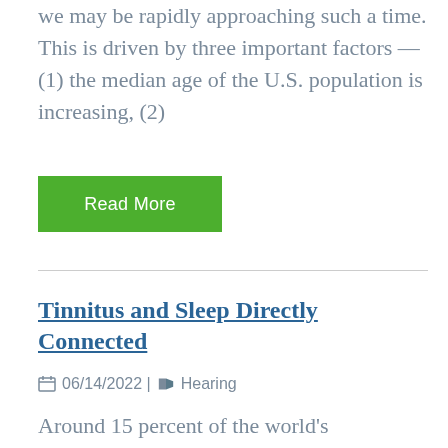we may be rapidly approaching such a time. This is driven by three important factors — (1) the median age of the U.S. population is increasing, (2)
Read More
Tinnitus and Sleep Directly Connected
06/14/2022 | Hearing
Around 15 percent of the world's population suffers from tinnitus, a